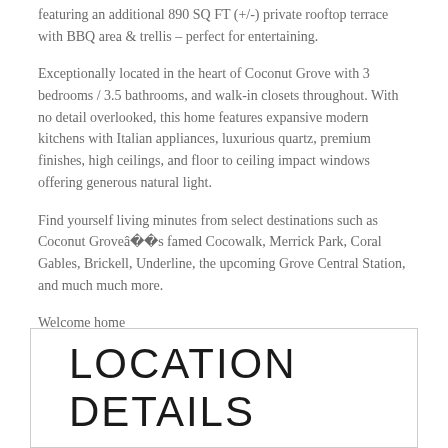featuring an additional 890 SQ FT (+/-) private rooftop terrace with BBQ area & trellis – perfect for entertaining.
Exceptionally located in the heart of Coconut Grove with 3 bedrooms / 3.5 bathrooms, and walk-in closets throughout. With no detail overlooked, this home features expansive modern kitchens with Italian appliances, luxurious quartz, premium finishes, high ceilings, and floor to ceiling impact windows offering generous natural light.
Find yourself living minutes from select destinations such as Coconut Groveâ€™s famed Cocowalk, Merrick Park, Coral Gables, Brickell, Underline, the upcoming Grove Central Station, and much much more.
Welcome home
LOCATION DETAILS